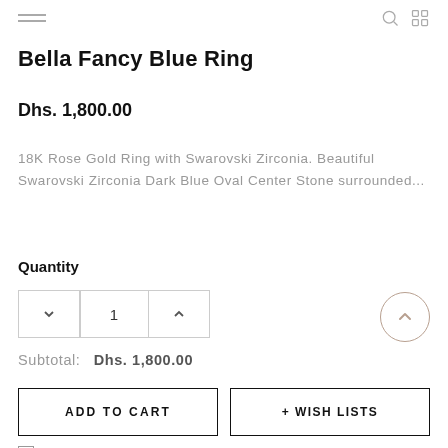navigation header icons
Bella Fancy Blue Ring
Dhs. 1,800.00
18K Rose Gold Ring with Swarovski Zirconia. Beautiful Swarovski Zirconia Dark Blue Oval Center Stone surrounded...
Quantity
1
Subtotal:  Dhs. 1,800.00
ADD TO CART
+ WISH LISTS
I Agree With The Terms & Conditions